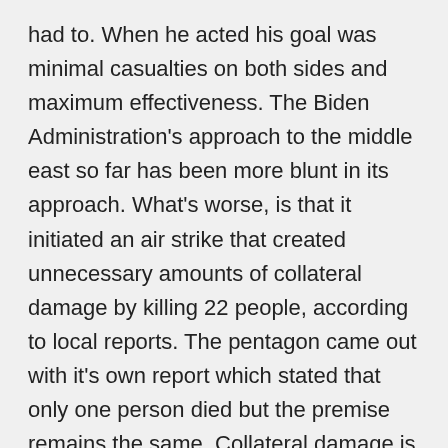had to. When he acted his goal was minimal casualties on both sides and maximum effectiveness. The Biden Administration's approach to the middle east so far has been more blunt in its approach. What's worse, is that it initiated an air strike that created unnecessary amounts of collateral damage by killing 22 people, according to local reports. The pentagon came out with it's own report which stated that only one person died but the premise remains the same. Collateral damage is unacceptable and the Trump administration knew that. The middle east is rife with turmoil and aggression for one another, but what the Assad regime did was unacceptable. The power of the U.S.A was felt, with minimal harm to people. Unfortunately, the Biden administration's current approach seems to only want